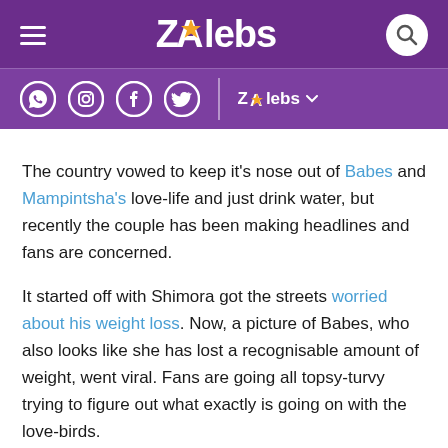ZAlebs
The country vowed to keep it's nose out of Babes and Mampintsha's love-life and just drink water, but recently the couple has been making headlines and fans are concerned.
It started off with Shimora got the streets worried about his weight loss. Now, a picture of Babes, who also looks like she has lost a recognisable amount of weight, went viral. Fans are going all topsy-turvy trying to figure out what exactly is going on with the love-birds.